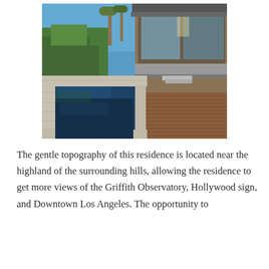[Figure (photo): Exterior photo of a modern luxury residence featuring an infinity pool and spa with dark blue water, surrounded by stone tile coping and a warm wood deck. The contemporary home has floor-to-ceiling glass walls and panels, with lush green trees and a clear blue sky in the background.]
The gentle topography of this residence is located near the highland of the surrounding hills, allowing the residence to get more views of the Griffith Observatory, Hollywood sign, and Downtown Los Angeles. The opportunity to